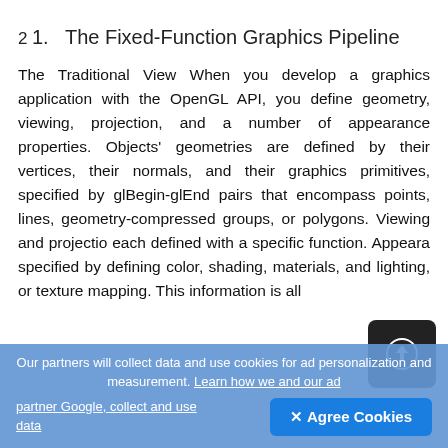2
1.  The Fixed-Function Graphics Pipeline
The Traditional View When you develop a graphics application with the OpenGL API, you define geometry, viewing, projection, and a number of appearance properties. Objects' geometries are defined by their vertices, their normals, and their graphics primitives, specified by glBegin-glEnd pairs that encompass points, lines, geometry-compressed groups, or polygons. Viewing and projection each defined with a specific function. Appearance specified by defining color, shading, materials, and lighting, or texture mapping. This information is all
Our partners will collect data and use cookies for ad personalization and measurement. Learn how we and our ad partner Google, collect and use data
✕ Agree Cookies